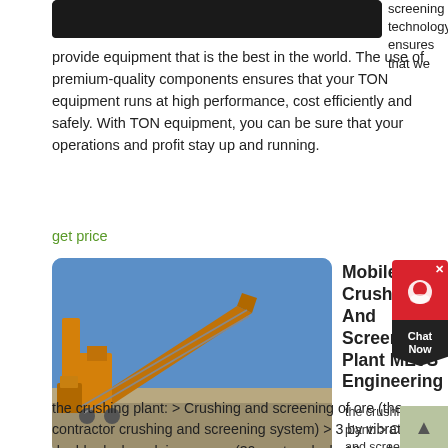[Figure (photo): Dark/black image at top, partial view of equipment]
screening technology ensures that we provide equipment that is the best in the world. The use of premium-quality components ensures that your TON equipment runs at high performance, cost efficiently and safely. With TON equipment, you can be sure that your operations and profit stay up and running.
get price
[Figure (photo): Yellow mobile crushing and screening plant machinery on construction site with blue sky]
Mobile Crushing And Screening Plant METS Engineering
the crushing plant: > Crushing and screening of ore (the contractor crushing and screening system) > 3 by vibrating double deck scalping screen (30mm top deck, 10mm bottom deck); (3.35m by 6.7m) > 2 by secondary Nordberg cone crushers (CM500) > 2 by tertiary Nordberg cone crushers (CM